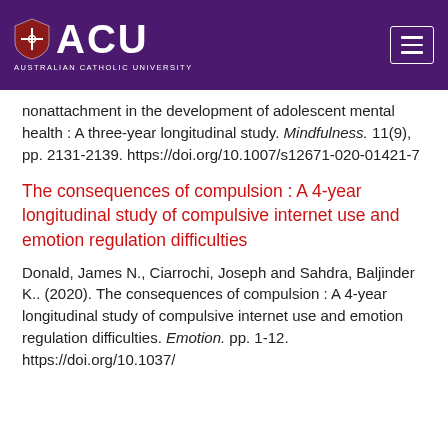ACU AUSTRALIAN CATHOLIC UNIVERSITY
nonattachment in the development of adolescent mental health : A three-year longitudinal study. Mindfulness. 11(9), pp. 2131-2139. https://doi.org/10.1007/s12671-020-01421-7
The consequences of compulsion : A 4-year longitudinal study of compulsive internet use and emotion regulation difficulties
Donald, James N., Ciarrochi, Joseph and Sahdra, Baljinder K.. (2020). The consequences of compulsion : A 4-year longitudinal study of compulsive internet use and emotion regulation difficulties. Emotion. pp. 1-12. https://doi.org/10.1037/